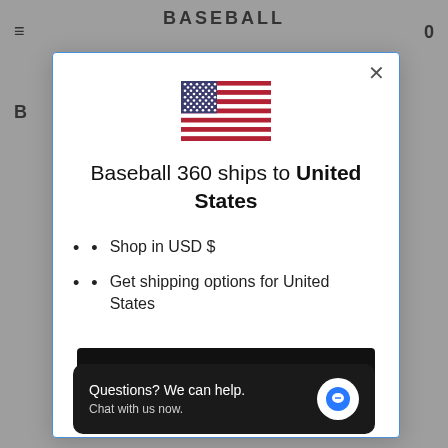[Figure (screenshot): Website background with hamburger menu, Baseball 360 logo, and cart icon visible behind modal overlay]
[Figure (illustration): US flag emoji/illustration displayed in the modal dialog]
Baseball 360 ships to United States
Shop in USD $
Get shipping options for United States
Shop now
Questions? We can help. Chat with us now.